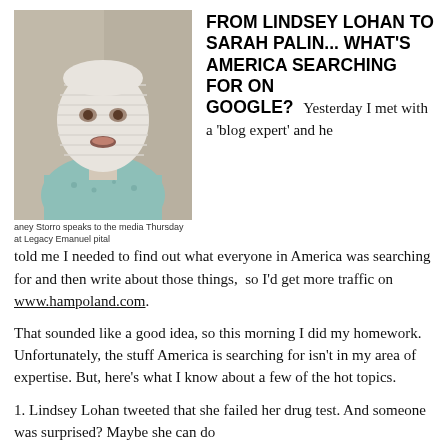[Figure (photo): Person with face wrapped in bandages, wearing a light blue top, speaking to media.]
aney Storro speaks to the media Thursday at Legacy Emanuel pital
FROM LINDSEY LOHAN TO SARAH PALIN... WHAT'S AMERICA SEARCHING FOR ON GOOGLE?
Yesterday I met with a ‘blog expert’ and he told me I needed to find out what everyone in America was searching for and then write about those things, so I’d get more traffic on www.hampoland.com.
That sounded like a good idea, so this morning I did my homework. Unfortunately, the stuff America is searching for isn’t in my area of expertise. But, here’s what I know about a few of the hot topics.
1. Lindsey Lohan tweeted that she failed her drug test. And someone was surprised? Maybe she can do